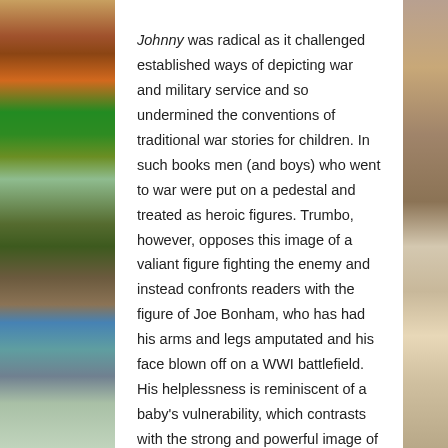Johnny was radical as it challenged established ways of depicting war and military service and so undermined the conventions of traditional war stories for children. In such books men (and boys) who went to war were put on a pedestal and treated as heroic figures. Trumbo, however, opposes this image of a valiant figure fighting the enemy and instead confronts readers with the figure of Joe Bonham, who has had his arms and legs amputated and his face blown off on a WWI battlefield. His helplessness is reminiscent of a baby's vulnerability, which contrasts with the strong and powerful image of men as depicted on propagandist posters. Trumbo wanted to represent the realities and horrors of war to prevent his young readers blindly following the previous generation to the front line. Like WWI, which saw many under age youths become soldiers, the novel blurs the division between childhood and adulthood by exposing young readers to the grim realities of war. As readers of this novel, they are treated as socially significant and rational beings, capable of